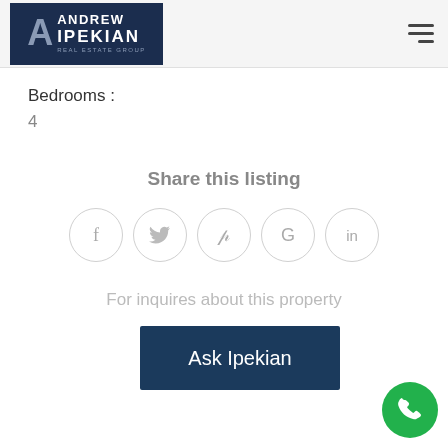[Figure (logo): Andrew Ipekian Real Estate Group logo on dark navy background]
Bedrooms :
4
Share this listing
[Figure (illustration): Five social media share icons in circles: Facebook (f), Twitter (bird), Pinterest (p), Google (G), LinkedIn (in)]
For inquires about this property
[Figure (illustration): Ask Ipekian button - dark navy rectangle with white text]
[Figure (illustration): Green circular phone call button in bottom right corner]